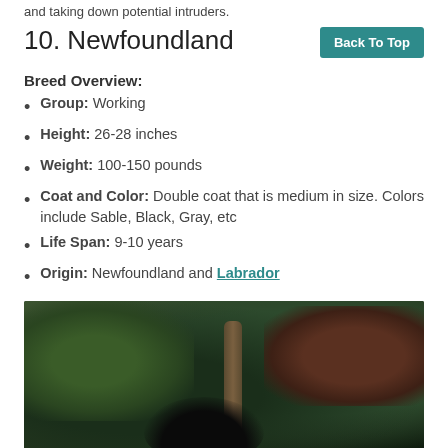and taking down potential intruders.
10. Newfoundland
Breed Overview:
Group: Working
Height: 26-28 inches
Weight: 100-150 pounds
Coat and Color: Double coat that is medium in size. Colors include Sable, Black, Gray, etc
Life Span: 9-10 years
Origin: Newfoundland and Labrador
[Figure (photo): A large black Newfoundland dog photographed outdoors among trees and foliage]